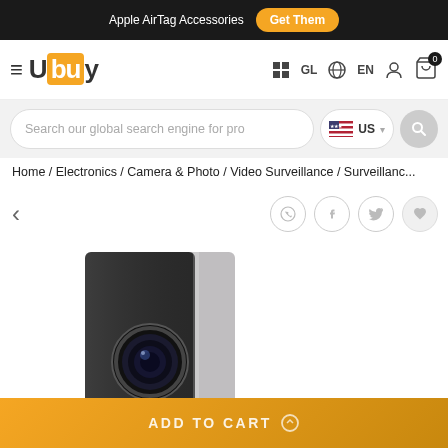Apple AirTag Accessories  Get Them
[Figure (logo): Ubuy logo with hamburger menu and navigation icons for GL, EN, user account, and cart with badge 0]
[Figure (screenshot): Search bar with text 'Search our global search engine for pro', US country selector, and search button]
Home / Electronics / Camera & Photo / Video Surveillance / Surveillanc...
[Figure (photo): Black and silver security surveillance camera product image showing lens detail, positioned left-center]
ADD TO CART